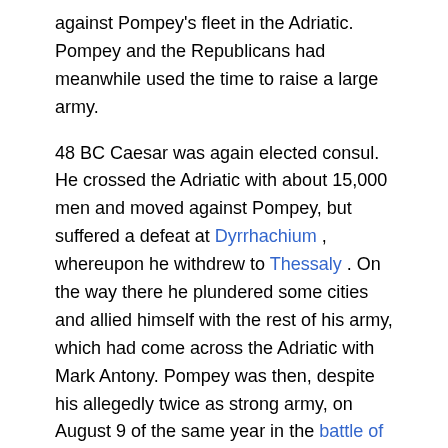against Pompey's fleet in the Adriatic. Pompey and the Republicans had meanwhile used the time to raise a large army.
48 BC Caesar was again elected consul. He crossed the Adriatic with about 15,000 men and moved against Pompey, but suffered a defeat at Dyrrhachium , whereupon he withdrew to Thessaly . On the way there he plundered some cities and allied himself with the rest of his army, which had come across the Adriatic with Mark Antony. Pompey was then, despite his allegedly twice as strong army, on August 9 of the same year in the battle of Pharsalus , after he had been urged to fight by the senators accompanying him; he himself narrowly escaped. After this decisive victory, Caesar controlled most of the eastern Mediterranean and was de facto sole ruler in the Roman Empire. Many of the anti-Caesar senators fled to other parts of the Roman world in order to organize the further uprising against Caesar there, others were pardoned by Caesar. Pompey fled to Egypt after his defeat , where he was ordered by the adviser of King Ptolemy XIII. was killed.